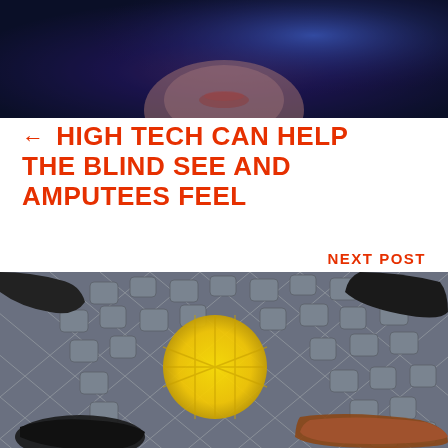[Figure (photo): Partial view of a person's face with blue/purple tinted lighting, cropped to show lower face area]
← HIGH TECH CAN HELP THE BLIND SEE AND AMPUTEES FEEL
NEXT POST
[Figure (photo): Overhead view of cobblestone pavement with a yellow circle marking, surrounded by people's feet in various shoes (black boots, brown brogues)]